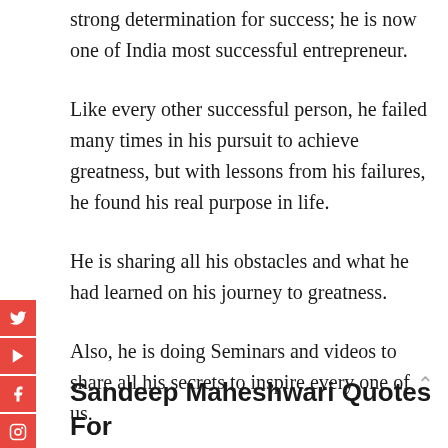who had a life-hard learning attitude and a strong determination for success; he is now one of India most successful entrepreneur.
Like every other successful person, he failed many times in his pursuit to achieve greatness, but with lessons from his failures, he found his real purpose in life.
He is sharing all his obstacles and what he had learned on his journey to greatness.
Also, he is doing Seminars and videos to share all his secrets to inspire every one of us.
Sandeep Maheshwari Quotes For